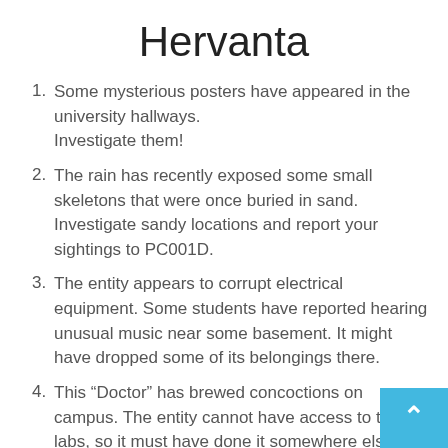Hervanta
Some mysterious posters have appeared in the university hallways.
Investigate them!
The rain has recently exposed some small skeletons that were once buried in sand. Investigate sandy locations and report your sightings to PC001D.
The entity appears to corrupt electrical equipment. Some students have reported hearing unusual music near some basement. It might have dropped some of its belongings there.
This “Doctor” has brewed concoctions on campus. The entity cannot have access to the labs, so it must have done it somewhere else! Find the Doc…